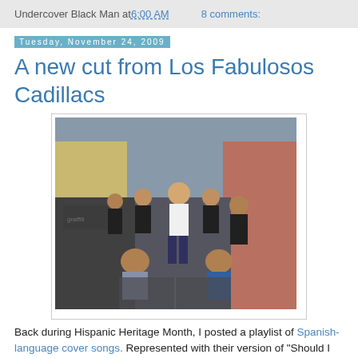Undercover Black Man at 6:00 AM   8 comments:
Tuesday, November 24, 2009
A new cut from Los Fabulosos Cadillacs
[Figure (photo): Group photo of Los Fabulosos Cadillacs band members posing in an urban alley with graffiti-covered brick walls. About 10 men, one in a white tank top standing centrally, others in dark clothing, two crouching in front.]
Back during Hispanic Heritage Month, I posted a playlist of Spanish-language cover songs. Represented with their version of "Should I Stay, Should I Go" was Los...